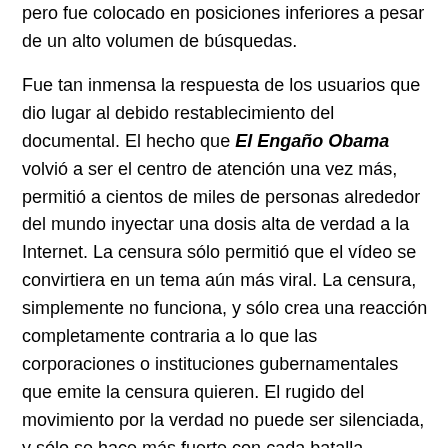pero fue colocado en posiciones inferiores a pesar de un alto volumen de búsquedas.
Fue tan inmensa la respuesta de los usuarios que dio lugar al debido restablecimiento del documental. El hecho que El Engaño Obama volvió a ser el centro de atención una vez más, permitió a cientos de miles de personas alrededor del mundo inyectar una dosis alta de verdad a la Internet. La censura sólo permitió que el vídeo se convirtiera en un tema aún más viral. La censura, simplemente no funciona, y sólo crea una reacción completamente contraria a lo que las corporaciones o instituciones gubernamentales que emite la censura quieren. El rugido del movimiento por la verdad no puede ser silenciada, y sólo se hace más fuerte con cada batalla intelectual contra la tiranía.